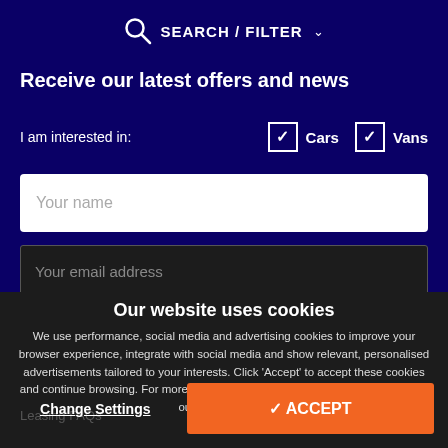SEARCH / FILTER
Receive our latest offers and news
I am interested in:
Cars  Vans
Your name
Your email address
Our website uses cookies
We use performance, social media and advertising cookies to improve your browser experience, integrate with social media and show relevant, personalised advertisements tailored to your interests. Click 'Accept' to accept these cookies and continue browsing. For more information or to amend your preferences, visit our privacy policy.
Change Settings
✓ ACCEPT